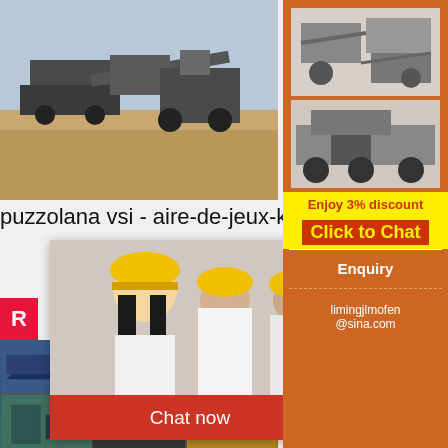[Figure (photo): Aerial/ground view of a mining or quarry site with heavy crushing/screening equipment machinery on an open pit excavation site]
puzzolana vsi - aire-de-jeux-king-leo.fr
[Figure (photo): Live Chat popup overlay with workers wearing yellow hard hats, showing 'LIVE CHAT - Click for a Free Consultation' with Chat now and Chat later buttons]
[Figure (photo): Grid of photos showing various mobile crushing and screening equipment machines]
[Figure (photo): Right sidebar with orange background showing two crusher/mining machine images, Enjoy 3% discount, Click to Chat, Enquiry, and limingjlmofen@sina.com contact information]